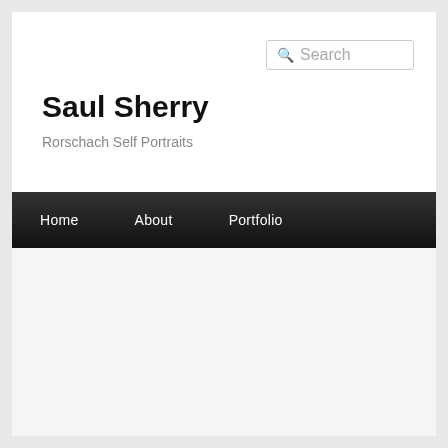Search
Saul Sherry
Rorschach Self Portraits
Home   About   Portfolio
TAG ARCHIVES: THE GRAND BUDAPEST HOTEL
The Grand Budapest Hotel Film Fashion: JP Jopling
Posted on April 7, 2014